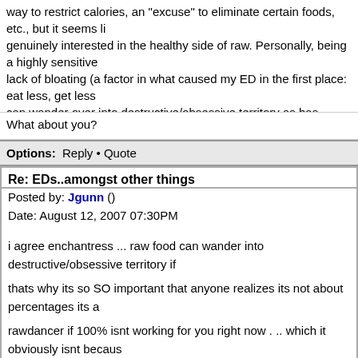way to restrict calories, an 'excuse' to eliminate certain foods, etc., but it seems like she is genuinely interested in the healthy side of raw. Personally, being a highly sensitive lack of bloating (a factor in what caused my ED in the first place: eat less, get less can wander over into destructive/obsessive territory as has happened lately.
What about you?
Options: Reply • Quote
Re: EDs..amongst other things
Posted by: Jgunn ()
Date: August 12, 2007 07:30PM
i agree enchantress ... raw food can wander into destructive/obsessive territory if
thats why its so SO important that anyone realizes its not about percentages its a
rawdancer if 100% isnt working for you right now . .. which it obviously isnt because some steamed veggies or rice or something to get things going again , the damage important to address then worrying weather you are eating 100% raw at the mom
you cant run your engine on no fuel
...Jodi, the banana eating buddhist
[Figure (illustration): Cartoon illustration of a Buddhist monk in orange robes holding something, with a light yellow background]